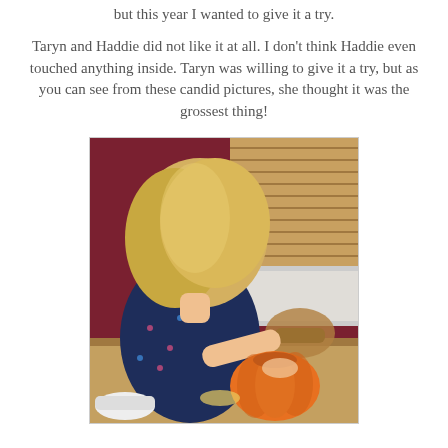but this year I wanted to give it a try.
Taryn and Haddie did not like it at all. I don't think Haddie even touched anything inside. Taryn was willing to give it a try, but as you can see from these candid pictures, she thought it was the grossest thing!
[Figure (photo): A young girl with blonde hair leaning over a table, reaching into a carved pumpkin. She is wearing a dark navy blue patterned dress. A wooden chair is visible behind her, with dark red walls and wooden blinds in the background.]